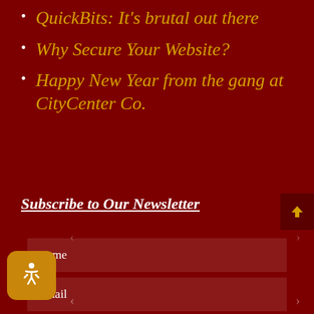QuickBits: It's brutal out there
Why Secure Your Website?
Happy New Year from the gang at CityCenter Co.
Subscribe to Our Newsletter
Name
Email
SUBSCRIBE!